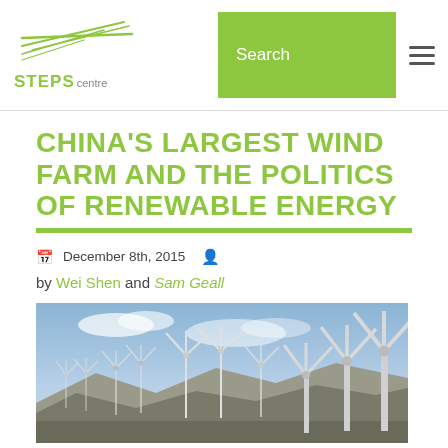STEPS centre | Search
CHINA'S LARGEST WIND FARM AND THE POLITICS OF RENEWABLE ENERGY
December 8th, 2015
by Wei Shen and Sam Geall
[Figure (photo): A wind farm with many wind turbines against a blue sky with mountains in the background]